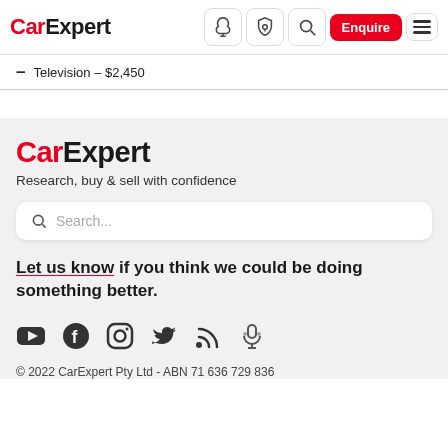CarExpert — navigation header with logo, icons, Enquire button, hamburger menu
Television – $2,450
[Figure (logo): CarExpert logo — 'Car' in red, 'Expert' in black, bold large text]
Research, buy & sell with confidence
[Figure (screenshot): Search box with magnifying glass icon and placeholder text 'Search...']
Let us know if you think we could be doing something better.
[Figure (infographic): Row of social media icons: YouTube, Facebook, Instagram, Twitter, RSS feed, Podcast/microphone]
© 2022 CarExpert Pty Ltd - ABN 71 636 729 836